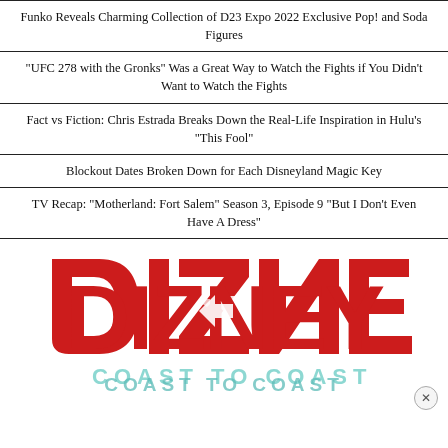Funko Reveals Charming Collection of D23 Expo 2022 Exclusive Pop! and Soda Figures
"UFC 278 with the Gronks" Was a Great Way to Watch the Fights if You Didn't Want to Watch the Fights
Fact vs Fiction: Chris Estrada Breaks Down the Real-Life Inspiration in Hulu's "This Fool"
Blockout Dates Broken Down for Each Disneyland Magic Key
TV Recap: "Motherland: Fort Salem" Season 3, Episode 9 "But I Don't Even Have A Dress"
[Figure (logo): Dizney Coast to Coast logo — red stylized DIZNEY text with arrows, teal COAST TO COAST below]